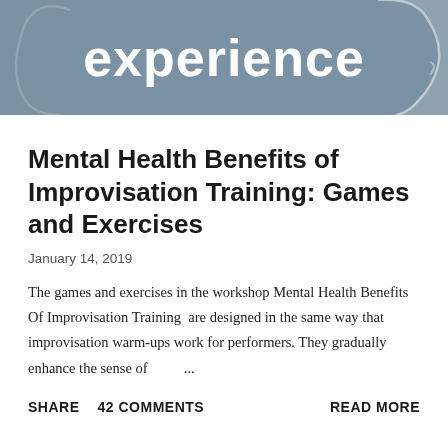[Figure (illustration): Banner with slate blue/grey background showing the word 'experience' in large bold white text, with a faint outline of a human head silhouette on the right side]
Mental Health Benefits of Improvisation Training: Games and Exercises
January 14, 2019
The games and exercises in the workshop Mental Health Benefits Of Improvisation Training  are designed in the same way that improvisation warm-ups work for performers. They gradually enhance the sense of          ...
SHARE    42 COMMENTS    READ MORE